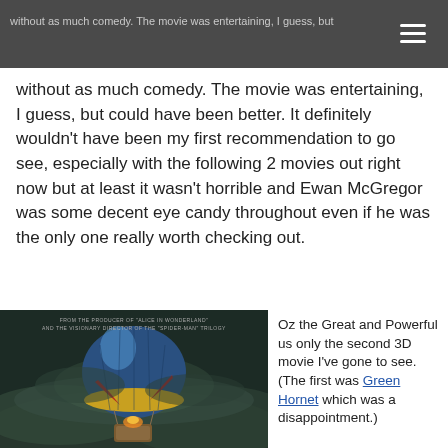without as much comedy. The movie was entertaining, I guess...
without as much comedy. The movie was entertaining, I guess, but could have been better. It definitely wouldn't have been my first recommendation to go see, especially with the following 2 movies out right now but at least it wasn't horrible and Ewan McGregor was some decent eye candy throughout even if he was the only one really worth checking out.
[Figure (photo): Movie poster showing a hot air balloon flying through stormy clouds, from the film 'Oz the Great and Powerful'. Text on image reads: FROM THE PRODUCER OF 'ALICE IN WONDERLAND' AND THE VISIONARY DIRECTOR OF THE 'SPIDER-MAN' TRILOGY.]
Oz the Great and Powerful us only the second 3D movie I've gone to see. (The first was Green Hornet which was a disappointment.)